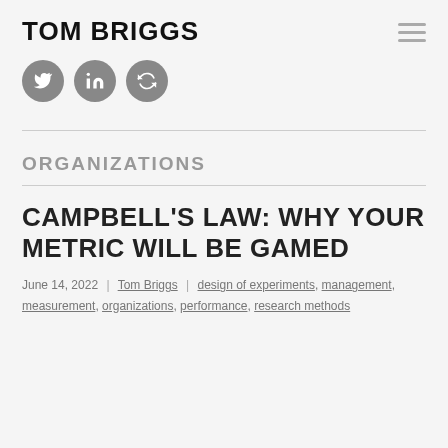TOM BRIGGS
[Figure (illustration): Three circular social media icon buttons (Twitter, LinkedIn, refresh/sync icon) in dark grey on light grey background]
ORGANIZATIONS
CAMPBELL'S LAW: WHY YOUR METRIC WILL BE GAMED
June 14, 2022 | Tom Briggs | design of experiments, management, measurement, organizations, performance, research methods